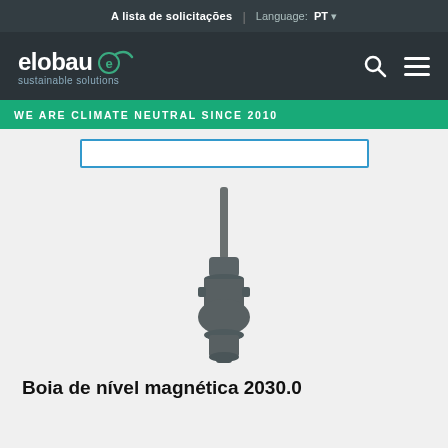A lista de solicitações  |  Language: PT
[Figure (logo): elobau sustainable solutions logo with circular e icon and teal accent arc]
WE ARE CLIMATE NEUTRAL SINCE 2010
[Figure (photo): Magnetic level float sensor 2030.0 - a dark grey cylindrical sensor with a thin rod extending upward and a spherical housing below]
Boia de nível magnética 2030.0